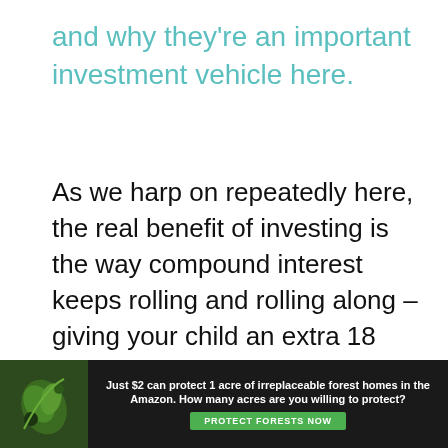and why they're an important investment vehicle here.
As we harp on repeatedly here, the real benefit of investing is the way compound interest keeps rolling and rolling along – giving your child an extra 18 years of interest with a pension can really help them out in the very long term. This really is a long term commitment though, with them likely not able to access the money
[Figure (other): Advertisement banner: 'Just $2 can protect 1 acre of irreplaceable forest homes in the Amazon. How many acres are you willing to protect?' with a green PROTECT FORESTS NOW button and a nature/forest background image with a bird.]